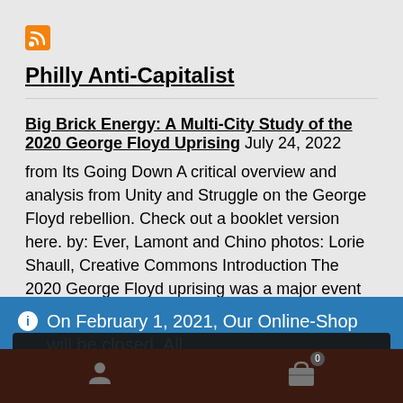[Figure (logo): RSS feed orange icon]
Philly Anti-Capitalist
Big Brick Energy: A Multi-City Study of the 2020 George Floyd Uprising  July 24, 2022
from Its Going Down A critical overview and analysis from Unity and Struggle on the George Floyd rebellion. Check out a booklet version here. by: Ever, Lamont and Chino photos: Lorie Shaull, Creative Commons Introduction The 2020 George Floyd uprising was a major event by whatever measure you use. It deepened the
On February 1, 2021, Our Online-Shop will be closed. All orders until January 31 will be delivered
Dismiss
We use cookies to ensure that we give you the best experience on our website. If you continue to use this site we will assume that you are happy with it.
Ok